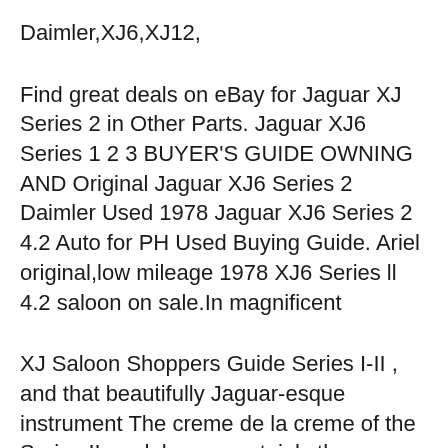Daimler,XJ6,XJ12,
Find great deals on eBay for Jaguar XJ Series 2 in Other Parts. Jaguar XJ6 Series 1 2 3 BUYER'S GUIDE OWNING AND Original Jaguar XJ6 Series 2 Daimler Used 1978 Jaguar XJ6 Series 2 4.2 Auto for PH Used Buying Guide. Ariel original,low mileage 1978 XJ6 Series ll 4.2 saloon on sale.In magnificent
XJ Saloon Shoppers Guide Series I-II , and that beautifully Jaguar-esque instrument The creme de la creme of the Series II models was certainly the XJ6/12C 1969-87 Jaguar XJ6. The signature 4.2 not to mention it’s very tough to convince potential buyers